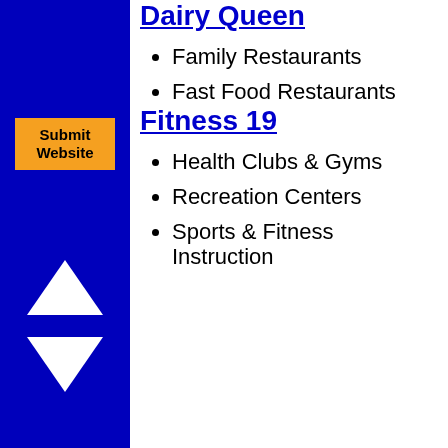Dairy Queen
Family Restaurants
Fast Food Restaurants
Fitness 19
Health Clubs & Gyms
Recreation Centers
Sports & Fitness Instruction